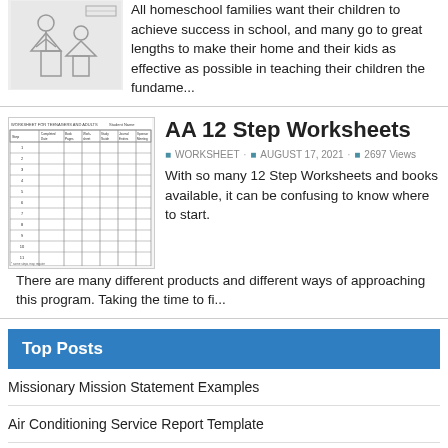All homeschool families want their children to achieve success in school, and many go to great lengths to make their home and their kids as effective as possible in teaching their children the fundame...
AA 12 Step Worksheets
WORKSHEET · AUGUST 17, 2021 · 2697 Views
With so many 12 Step Worksheets and books available, it can be confusing to know where to start. There are many different products and different ways of approaching this program. Taking the time to fi...
Top Posts
Missionary Mission Statement Examples
Air Conditioning Service Report Template